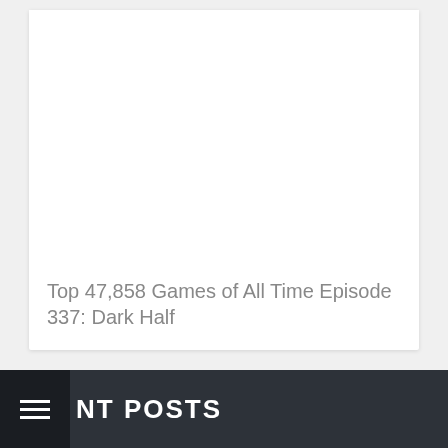[Figure (illustration): White card with empty image area on a light grey background]
Top 47,858 Games of All Time Episode 337: Dark Half
RECENT POSTS